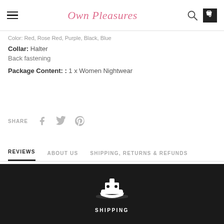Own Pleasures
Color: Red, Rose Red, Purple, Black, Blue
Collar: Halter
Back fastening
Package Content: : 1 x Women Nightwear
SHARE
REVIEWS   ABOUT US   SHIPPING, RETURNS & REFUNDS
SHIPPING